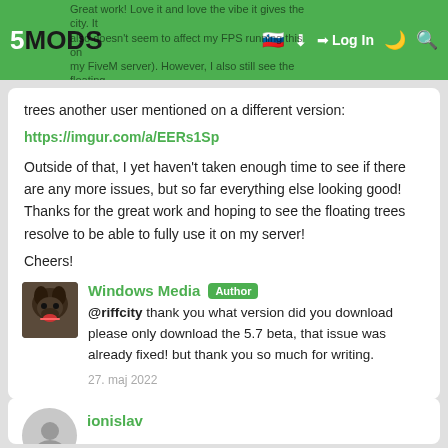5MODS | Log In
Great work! Love it and love the vibe it gives the city. It also doesn't seem to affect my FPS running this on my FiveM server). However, I also still see the floating trees another user mentioned on a different version: https://imgur.com/a/EERs1Sp Outside of that, I yet haven't taken enough time to see if there are any more issues, but so far everything else looking good! Thanks for the great work and hoping to see the floating trees resolve to be able to fully use it on my server! Cheers!
23. maj 2022
Windows Media Author
@riffcity thank you what version did you download please only download the 5.7 beta, that issue was already fixed! but thank you so much for writing.
27. maj 2022
ionislav